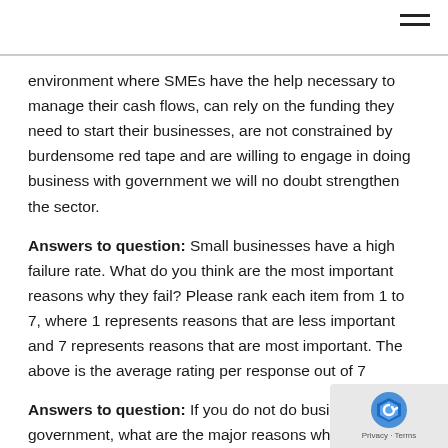environment where SMEs have the help necessary to manage their cash flows, can rely on the funding they need to start their businesses, are not constrained by burdensome red tape and are willing to engage in doing business with government we will no doubt strengthen the sector.
Answers to question: Small businesses have a high failure rate. What do you think are the most important reasons why they fail? Please rank each item from 1 to 7, where 1 represents reasons that are less important and 7 represents reasons that are most important. The above is the average rating per response out of 7
Answers to question: If you do not do business with government, what are the major reasons why not? Please score each item where 1 is not an important reason and 7 is